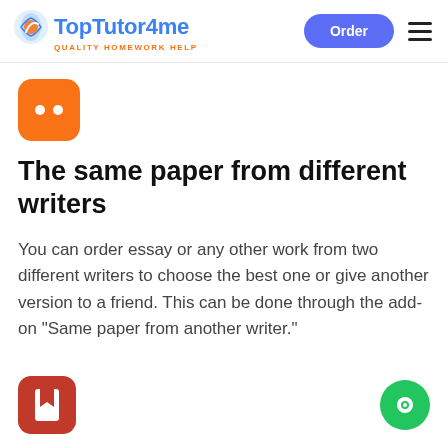TopTutor4me — QUALITY HOMEWORK HELP | Order | Menu
[Figure (logo): Orange rounded square icon with two white dots (Grammarly-style icon)]
The same paper from different writers
You can order essay or any other work from two different writers to choose the best one or give another version to a friend. This can be done through the add-on "Same paper from another writer."
[Figure (logo): Red rounded square icon with a white bookmark symbol]
[Figure (logo): Green circle chat/message button]